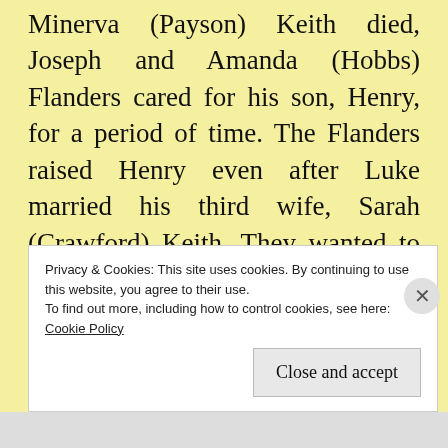Minerva (Payson) Keith died, Joseph and Amanda (Hobbs) Flanders cared for his son, Henry, for a period of time. The Flanders raised Henry even after Luke married his third wife, Sarah (Crawford) Keith. They wanted to adopt Henry but Luke said no; however, it looks like Henry lived with them throughout his youth. This seems to be corroborated by the 1860 census showing “Henry L Flanders,” age 16, (who it is actually believed to be Henry L. Keith), living with Joseph & Amanda
Privacy & Cookies: This site uses cookies. By continuing to use this website, you agree to their use.
To find out more, including how to control cookies, see here:
Cookie Policy

Close and accept